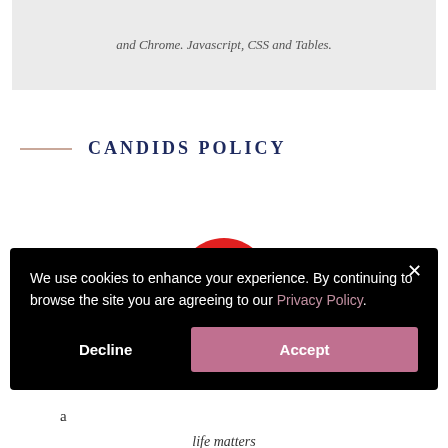and Chrome. Javascript, CSS and Tables.
CANDIDS POLICY
[Figure (illustration): Partial red circular icon/logo visible above the cookie consent modal]
T
ki
li
a
life matters
We use cookies to enhance your experience. By continuing to browse the site you are agreeing to our Privacy Policy.
Decline
Accept